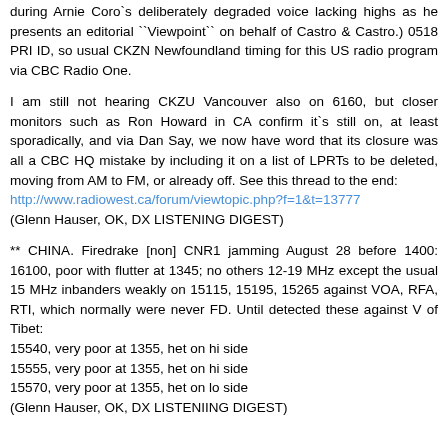during Arnie Coro`s deliberately degraded voice lacking highs as he presents an editorial ``Viewpoint`` on behalf of Castro & Castro.) 0518 PRI ID, so usual CKZN Newfoundland timing for this US radio program via CBC Radio One.
I am still not hearing CKZU Vancouver also on 6160, but closer monitors such as Ron Howard in CA confirm it`s still on, at least sporadically, and via Dan Say, we now have word that its closure was all a CBC HQ mistake by including it on a list of LPRTs to be deleted, moving from AM to FM, or already off. See this thread to the end:
http://www.radiowest.ca/forum/viewtopic.php?f=1&t=13777
(Glenn Hauser, OK, DX LISTENING DIGEST)
** CHINA. Firedrake [non] CNR1 jamming August 28 before 1400: 16100, poor with flutter at 1345; no others 12-19 MHz except the usual 15 MHz inbanders weakly on 15115, 15195, 15265 against VOA, RFA, RTI, which normally were never FD. Until detected these against V of Tibet:
15540, very poor at 1355, het on hi side
15555, very poor at 1355, het on hi side
15570, very poor at 1355, het on lo side
(Glenn Hauser, OK, DX LISTENIING DIGEST)